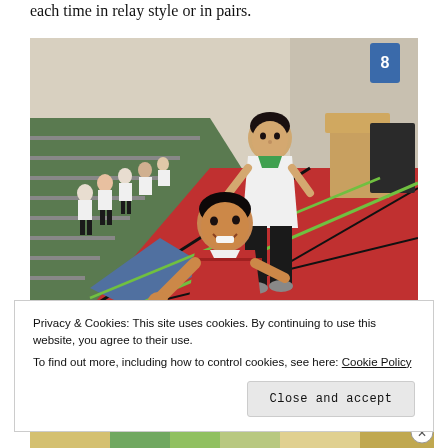each time in relay style or in pairs.
[Figure (photo): Two school children in white PE uniforms jumping or running on red gymnastics mats in a gymnasium. Other children in white uniforms can be seen in the background on bleacher steps. The gym has green carpeted stairs and red floor mats.]
Privacy & Cookies: This site uses cookies. By continuing to use this website, you agree to their use.
To find out more, including how to control cookies, see here: Cookie Policy
Close and accept